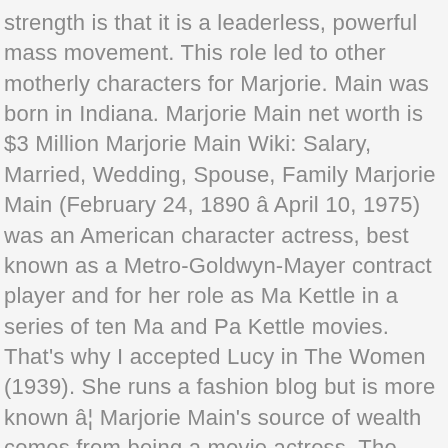strength is that it is a leaderless, powerful mass movement. This role led to other motherly characters for Marjorie. Main was born in Indiana. Marjorie Main net worth is $3 Million Marjorie Main Wiki: Salary, Married, Wedding, Spouse, Family Marjorie Main (February 24, 1890 â April 10, 1975) was an American character actress, best known as a Metro-Goldwyn-Mayer contract player and for her role as Ma Kettle in a series of ten Ma and Pa Kettle movies. That's why I accepted Lucy in The Women (1939). She runs a fashion blog but is more known â¦ Marjorie Main's source of wealth comes from being a movie actress. The Marjorie Mainâs statistics like age, body measurements, height, weight, bio, wiki, net worth posted above have been gathered from a lot of credible websites and online sources. She became known for her role as Ma Kettle in 10 installments in the Ma and Pa Kettle film franchise. In the U.S. salary average is around $59,000, and only 20% of Americans have a household income of $100,000 or more. Her career included a seven-year run on radio and television as the star of December